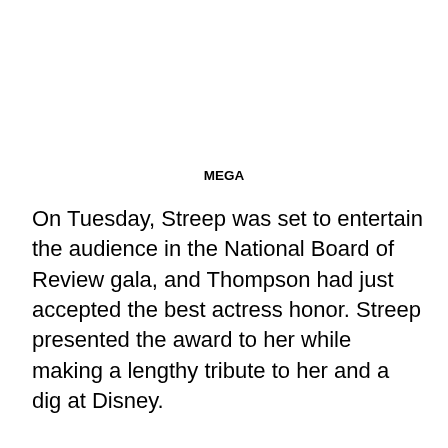MEGA
On Tuesday, Streep was set to entertain the audience in the National Board of Review gala, and Thompson had just accepted the best actress honor. Streep presented the award to her while making a lengthy tribute to her and a dig at Disney.